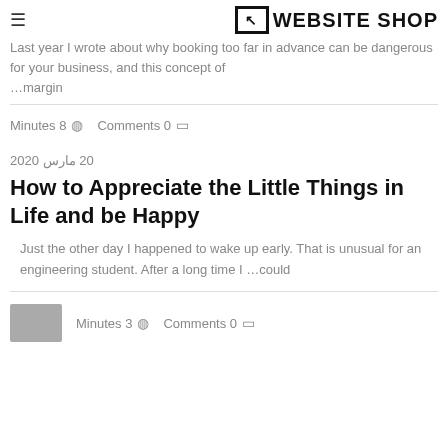WEBSITE SHOP
Last year I wrote about why booking too far in advance can be dangerous for your business, and this concept of ...margin
Minutes 8   Comments 0
20 مارس 2020
How to Appreciate the Little Things in Life and be Happy
Just the other day I happened to wake up early. That is unusual for an engineering student. After a long time I ...could
Minutes 3   Comments 0